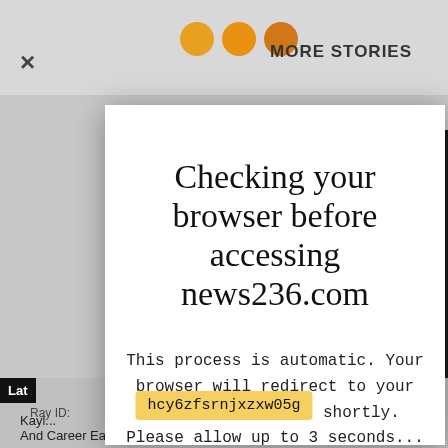[Figure (screenshot): Background website page with gray background, 'MORE STORIES' header with orange dots, a dark right-side image strip, black 'Lat' tag, bottom text snippets, and a yellow Cloudflare Ray ID bar.]
Checking your browser before accessing news236.com
This process is automatic. Your browser will redirect to your requested content shortly. Please allow up to 3 seconds...
DDoS protection by Cloudflare
Ray ID: hcy6zfsrnjxzxw05g